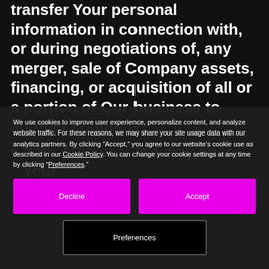transfer Your personal information in connection with, or during negotiations of, any merger, sale of Company assets, financing, or acquisition of all or a portion of Our business to another company.
With Affiliates: We may share Your
We use cookies to improve user experience, personalize content, and analyze website traffic. For these reasons, we may share your site usage data with our analytics partners. By clicking “Accept,” you agree to our website’s cookie use as described in our Cookie Policy. You can change your cookie settings at any time by clicking “Preferences.”
Decline
Accept
Preferences